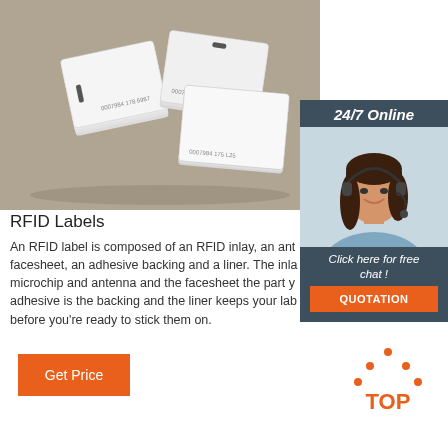[Figure (photo): Stack of white RFID card labels on a brownish surface]
[Figure (photo): 24/7 Online customer service panel with a woman wearing a headset and a 'Click here for free chat! QUOTATION' button]
RFID Labels
An RFID label is composed of an RFID inlay, an ant facesheet, an adhesive backing and a liner. The inla microchip and antenna and the facesheet the part y adhesive is the backing and the liner keeps your lab before you're ready to stick them on.
[Figure (logo): Get Price orange button]
[Figure (logo): TOP logo with orange dotted triangle and text TOP]